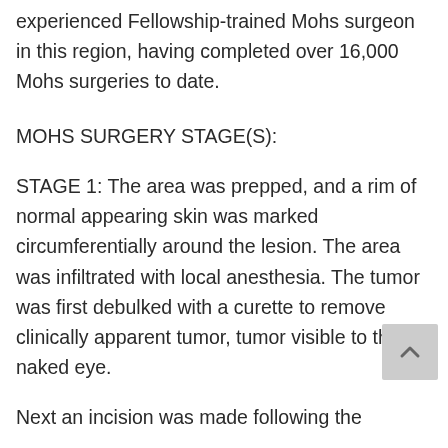experienced Fellowship-trained Mohs surgeon in this region, having completed over 16,000 Mohs surgeries to date.
MOHS SURGERY STAGE(S):
STAGE 1: The area was prepped, and a rim of normal appearing skin was marked circumferentially around the lesion. The area was infiltrated with local anesthesia. The tumor was first debulked with a curette to remove clinically apparent tumor, tumor visible to the naked eye.
Next an incision was made following the